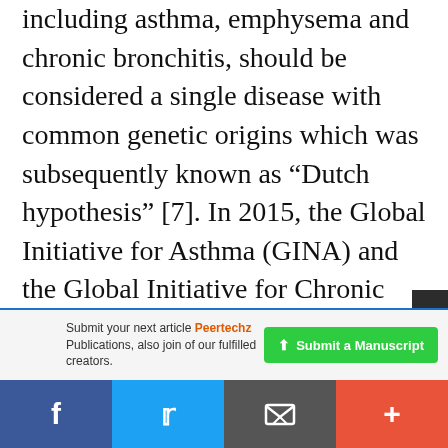including asthma, emphysema and chronic bronchitis, should be considered a single disease with common genetic origins which was subsequently known as “Dutch hypothesis” [7]. In 2015, the Global Initiative for Asthma (GINA) and the Global Initiative for Chronic Obstructive Lung Disease (GOLD) released a joint statement which was then called “asthma COPD overlap syndrome (ACOS)”, as persistent airflow limitation with several features usually
Submit your next article Peertechz Publications, also join of our fulfilled creators.
Submit a Manuscript